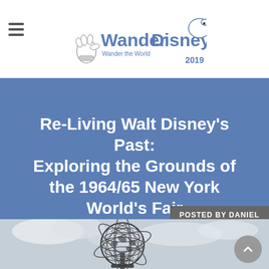WanderDisney – Wander the World 2019
Re-Living Walt Disney's Past: Exploring the Grounds of the 1964/65 New York World's Fair
POSTED BY DANIEL
[Figure (photo): Black and white photo of the Unisphere globe sculpture against a cloudy sky, taken at the site of the 1964/65 New York World's Fair in Flushing Meadows, Queens.]